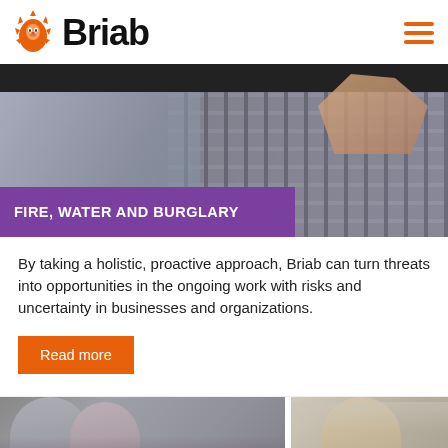Briab
[Figure (photo): Person pointing at a screen/keyboard, with purple overlay banner reading FIRE, WATER AND BURGLARY]
By taking a holistic, proactive approach, Briab can turn threats into opportunities in the ongoing work with risks and uncertainty in businesses and organizations.
Read more
[Figure (photo): Two people in a meeting or discussion, photographed from behind/side]